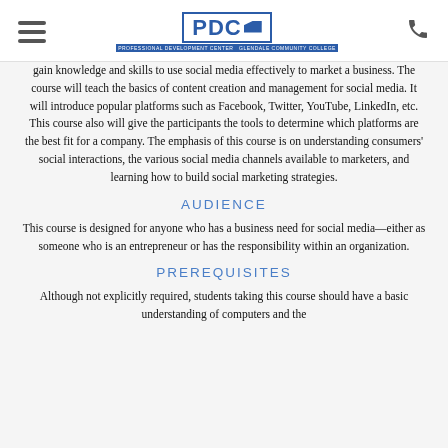PDC Professional Development Center — Glendale Community College
gain knowledge and skills to use social media effectively to market a business. The course will teach the basics of content creation and management for social media. It will introduce popular platforms such as Facebook, Twitter, YouTube, LinkedIn, etc. This course also will give the participants the tools to determine which platforms are the best fit for a company. The emphasis of this course is on understanding consumers' social interactions, the various social media channels available to marketers, and learning how to build social marketing strategies.
AUDIENCE
This course is designed for anyone who has a business need for social media—either as someone who is an entrepreneur or has the responsibility within an organization.
PREREQUISITES
Although not explicitly required, students taking this course should have a basic understanding of computers and the